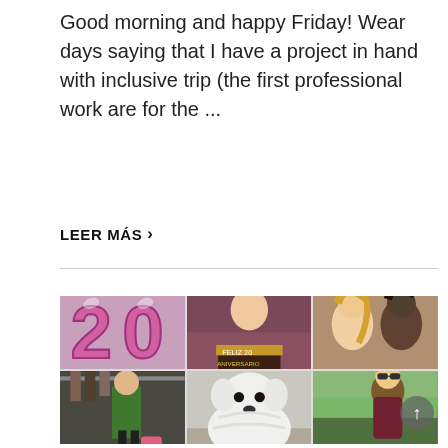Good morning and happy Friday! Wear days saying that I have a project in hand with inclusive trip (the first professional work are for the ...
LEER MÁS ›
[Figure (photo): A 2x3 grid of six photos: top row shows pink '20' balloons, a woman eating cake with a '20 Aniversario' celebration cake, and two women smiling (one blonde, one dark-skinned); bottom row shows a woman in green jacket at a clothing store, a fluffy white dog lying on a floor, and a blonde woman in a park wearing sunglasses.]